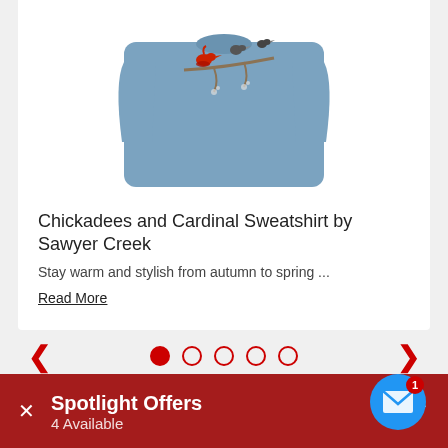[Figure (photo): Blue sweatshirt with embroidered chickadees and cardinal on a branch, folded and displayed on white background]
Chickadees and Cardinal Sweatshirt by Sawyer Creek
Stay warm and stylish from autumn to spring ...
Read More
[Figure (infographic): Carousel navigation: left arrow, 5 dots (first filled), right arrow]
[Figure (infographic): Mail notification icon (blue circle with envelope) with red badge showing '1']
Spotlight Offers
4 Available